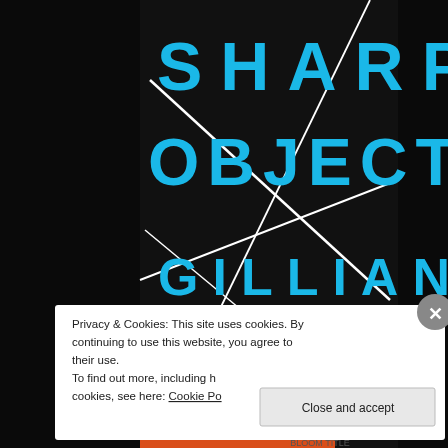[Figure (illustration): Book cover of 'Sharp Objects' by Gillian Flynn. Dark/black background with large cyan/blue spaced lettering reading 'SHARP OBJECTS' and 'GILLIAN FLYNN'. White diagonal lines crossing the cover. A blue circular badge in the lower right reads 'CREEPY... STYLISH AND...' Partially visible orange and black bar at bottom.]
Privacy & Cookies: This site uses cookies. By continuing to use this website, you agree to their use.
To find out more, including how to control cookies, see here: Cookie Policy
Close and accept